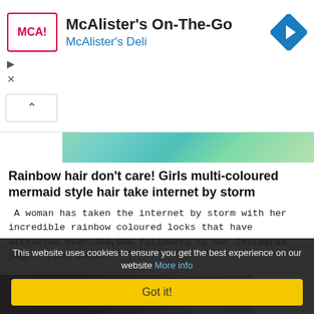[Figure (screenshot): Advertisement banner for McAlister's On-The-Go with McAlister's Deli logo (red bordered box with MCA! text), app title text, blue subtitle, and a blue diamond navigation icon on the right. Play and close control icons on the left.]
[Figure (photo): Cropped photo showing colorful teal/green rainbow-dyed hair against a light background]
Rainbow hair don't care! Girls multi-coloured mermaid style hair take internet by storm
A woman has taken the internet by storm with her incredible rainbow coloured locks that have attracted over 300,000 followers to her Instagram pag... read more>>
[Figure (photo): Partial photo of a woman with red/dark dyed hair, face partially visible, in front of a door or wall]
This website uses cookies to ensure you get the best experience on our website More info
Got it!